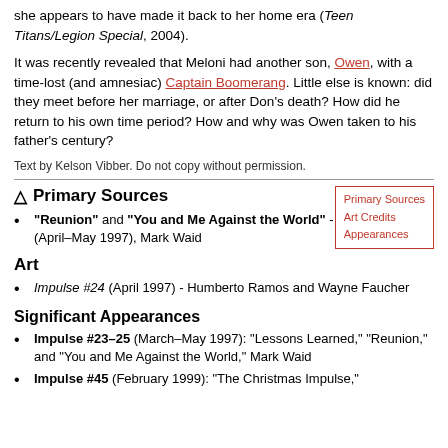she appears to have made it back to her home era (Teen Titans/Legion Special, 2004).
It was recently revealed that Meloni had another son, Owen, with a time-lost (and amnesiac) Captain Boomerang. Little else is known: did they meet before her marriage, or after Don's death? How did he return to his own time period? How and why was Owen taken to his father's century?
Text by Kelson Vibber. Do not copy without permission.
Primary Sources
[Figure (other): Navigation sidebar box with links: Primary Sources, Art Credits, Appearances]
"Reunion" and "You and Me Against the World" - Impulse #24–25 (April–May 1997), Mark Waid
Art
Impulse #24 (April 1997) - Humberto Ramos and Wayne Faucher
Significant Appearances
Impulse #23–25 (March–May 1997): "Lessons Learned," "Reunion," and "You and Me Against the World," Mark Waid
Impulse #45 (February 1999): "The Christmas Impulse,"